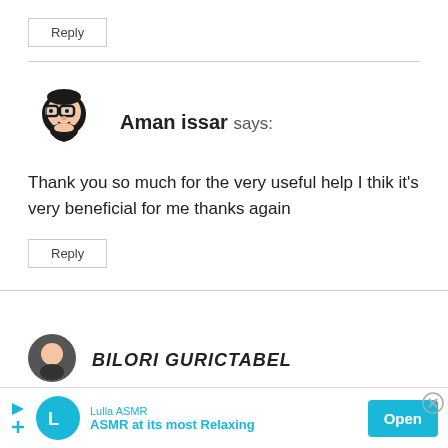Reply
[Figure (illustration): Avatar icon of Aman issar - cartoon face with glasses]
Aman issar says:
Thank you so much for the very useful help I thik it's very beneficial for me thanks again
Reply
[Figure (illustration): Partial avatar icon for next commenter BILORI GURICTABEL]
BILORI GURICTABEL
[Figure (screenshot): Advertisement banner: Lulla ASMR - ASMR at its most Relaxing - Open button]